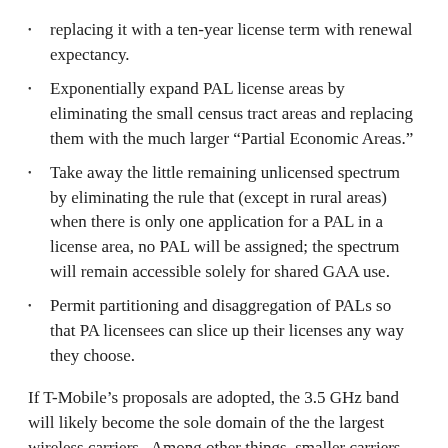replacing it with a ten-year license term with renewal expectancy.
Exponentially expand PAL license areas by eliminating the small census tract areas and replacing them with the much larger “Partial Economic Areas.”
Take away the little remaining unlicensed spectrum by eliminating the rule that (except in rural areas) when there is only one application for a PAL in a license area, no PAL will be assigned; the spectrum will remain accessible solely for shared GAA use.
Permit partitioning and disaggregation of PALs so that PA licensees can slice up their licenses any way they choose.
If T-Mobile’s proposals are adopted, the 3.5 GHz band will likely become the sole domain of the the largest wireless carriers.  Among other things, smaller carriers that intend to bid on PALs will find themselves priced out